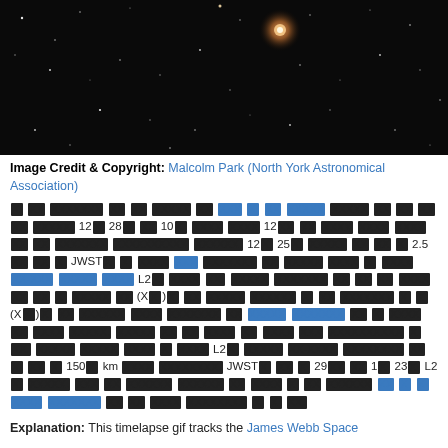[Figure (photo): Space telescope timelapse image showing stars against a dark background with a bright orange/red star near the top center]
Image Credit & Copyright: Malcolm Park (North York Astronomical Association)
[Redacted body text with blue and black highlighted blocks, containing references to dates 12, 28, 10, 12, 25, 2.5, JWST, L2, (MM), (XX), 150 km, JWST, 29, 1, 23, L2]
Explanation: This timelapse gif tracks the James Webb Space